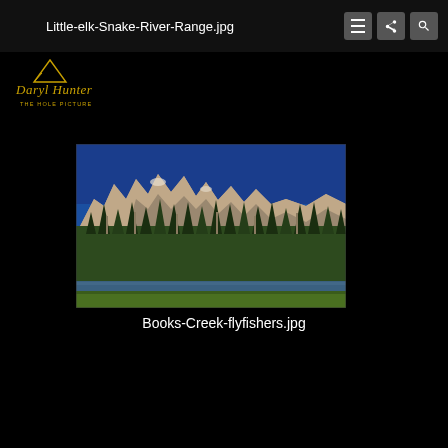Little-elk-Snake-River-Range.jpg
[Figure (logo): Daryl Hunter The Hole Picture logo in gold script with mountain icon on black background]
[Figure (photo): Mountain landscape showing jagged rocky peaks of the Snake River Range with a dense conifer forest below and a stream or river at the bottom, photographed under a deep blue sky]
Books-Creek-flyfishers.jpg